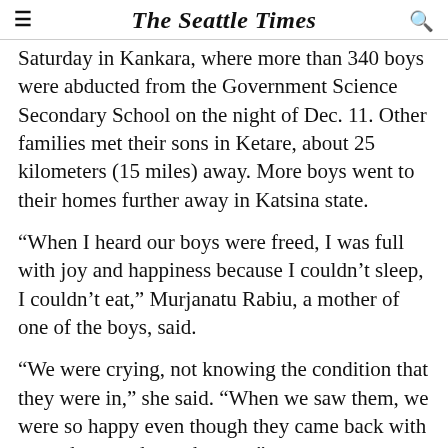The Seattle Times
Saturday in Kankara, where more than 340 boys were abducted from the Government Science Secondary School on the night of Dec. 11. Other families met their sons in Ketare, about 25 kilometers (15 miles) away. More boys went to their homes further away in Katsina state.
“When I heard our boys were freed, I was full with joy and happiness because I couldn’t sleep, I couldn’t eat,” Murjanatu Rabiu, a mother of one of the boys, said.
“We were crying, not knowing the condition that they were in,” she said. “When we saw them, we were so happy even though they came back with wounds … and very hungry.”
Amid the celebrations, however, many of the